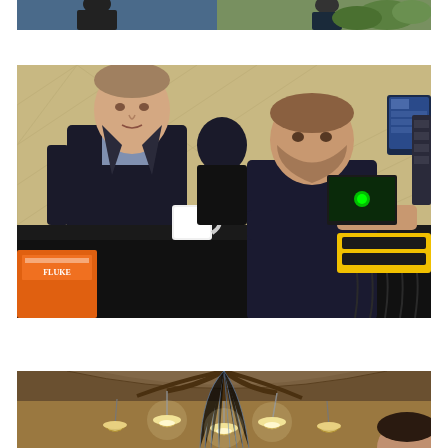[Figure (photo): Partial view of a conference or trade show scene, cropped at top — showing people and booth displays with technology equipment.]
[Figure (photo): Two men at a conference or trade show booth. Left: a man in a dark suit with a light blue shirt standing and looking forward. Right: a larger man in a dark shirt seated at a table with a laptop and green-lit device. In the foreground are networking devices with yellow accents and multiple cables. A coffee mug and orange-labeled box are also visible. A monitor is visible in the background.]
[Figure (photo): An interior venue shot showing a decorative ceiling with pendant lights and hanging fiber optic or cable strands, partially showing a person's head in the lower right corner.]